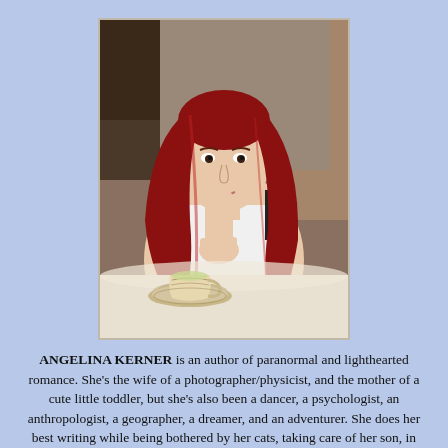[Figure (photo): Author photo of Angelina Kerner, a young woman with long red hair, resting her chin on her hand, sitting at a table with a floral teacup and saucer in the foreground.]
ANGELINA KERNER is an author of paranormal and lighthearted romance. She's the wife of a photographer/physicist, and the mother of a cute little toddler, but she's also been a dancer, a psychologist, an anthropologist, a geographer, a dreamer, and an adventurer. She does her best writing while being bothered by her cats, taking care of her son, in dressing rooms while waiting for family to try on clothing, and at home in sunny California. Angelina loves to play goddess-dragon matchmaker, transporting